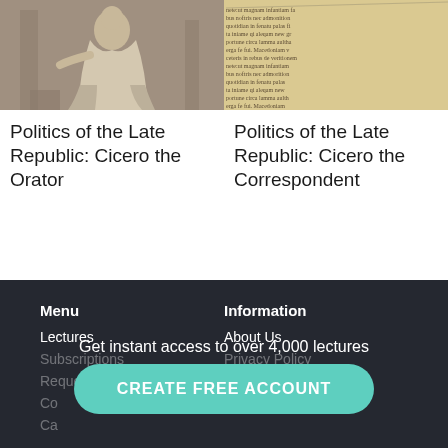[Figure (illustration): Engraving of Cicero seated in classical Roman robes]
Politics of the Late Republic: Cicero the Orator
[Figure (photo): Aged manuscript page with Latin handwritten text in yellowed parchment]
Politics of the Late Republic: Cicero the Correspondent
Menu
Lectures
Subscriptions
Request Free Trial
Information
About Us
Privacy Policy
Support Guide
Get instant access to over 4,000 lectures
CREATE FREE ACCOUNT